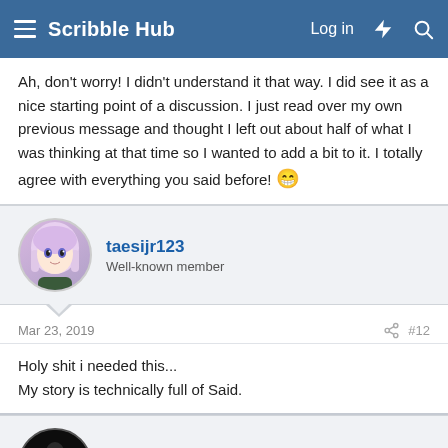Scribble Hub
Ah, don't worry! I didn't understand it that way. I did see it as a nice starting point of a discussion. I just read over my own previous message and thought I left out about half of what I was thinking at that time so I wanted to add a bit to it. I totally agree with everything you said before! 😁
taesijr123
Well-known member
Mar 23, 2019    #12
Holy shit i needed this...
My story is technically full of Said.
Chiisutofupuru
Active member
Mar 23, 2019    #13